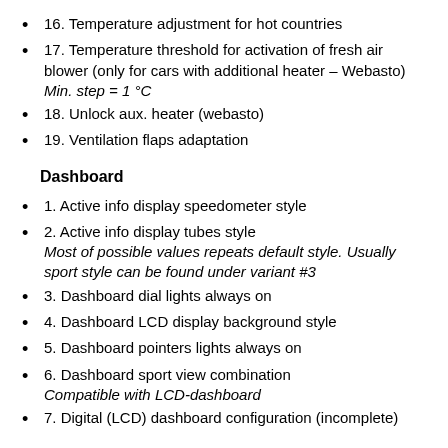16. Temperature adjustment for hot countries
17. Temperature threshold for activation of fresh air blower (only for cars with additional heater – Webasto) Min. step = 1 °C
18. Unlock aux. heater (webasto)
19. Ventilation flaps adaptation
Dashboard
1. Active info display speedometer style
2. Active info display tubes style Most of possible values repeats default style. Usually sport style can be found under variant #3
3. Dashboard dial lights always on
4. Dashboard LCD display background style
5. Dashboard pointers lights always on
6. Dashboard sport view combination Compatible with LCD-dashboard
7. Digital (LCD) dashboard configuration (incomplete)